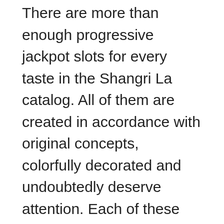There are more than enough progressive jackpot slots for every taste in the Shangri La catalog. All of them are created in accordance with original concepts, colorfully decorated and undoubtedly deserve attention. Each of these slot games can be an unforgettable and exciting experience, as well as huge winnings.
Also, it doesn't matter if users want free versions of slot games or they are looking for an opportunity to win real money. Shangri La Online Casino & Sports offers the widest slot selection with the opportunity to try them for free. Thus, everyone can find their happiest game here without having to risk money right